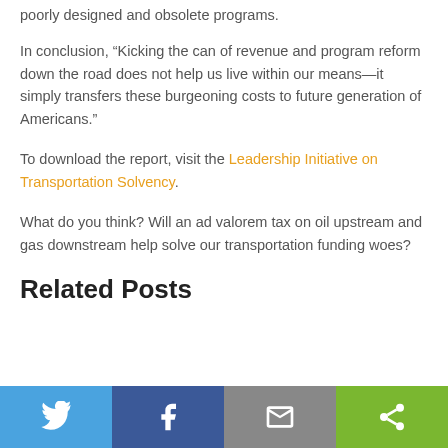poorly designed and obsolete programs.
In conclusion, “Kicking the can of revenue and program reform down the road does not help us live within our means—it simply transfers these burgeoning costs to future generation of Americans.”
To download the report, visit the Leadership Initiative on Transportation Solvency.
What do you think? Will an ad valorem tax on oil upstream and gas downstream help solve our transportation funding woes?
Related Posts